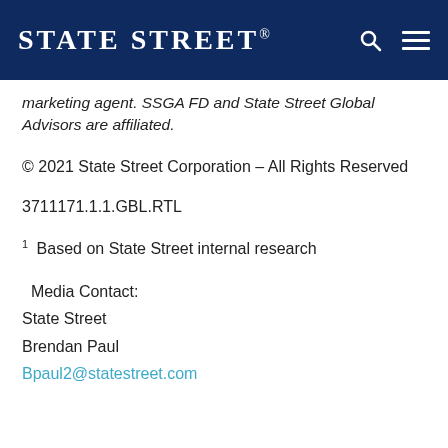STATE STREET
marketing agent. SSGA FD and State Street Global Advisors are affiliated.
© 2021 State Street Corporation – All Rights Reserved
3711171.1.1.GBL.RTL
1 Based on State Street internal research
Media Contact:
State Street
Brendan Paul
Bpaul2@statestreet.com